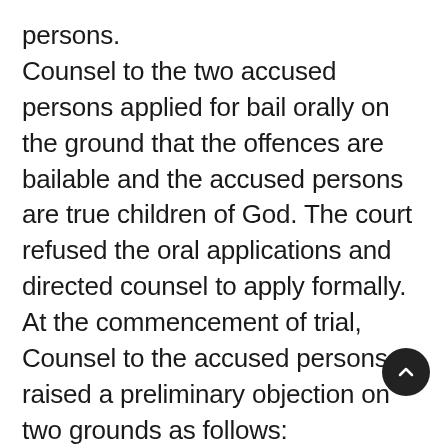persons. Counsel to the two accused persons applied for bail orally on the ground that the offences are bailable and the accused persons are true children of God. The court refused the oral applications and directed counsel to apply formally. At the commencement of trial, Counsel to the accused persons raised a preliminary objection on two grounds as follows: i. That the complaint was not properly before the court since consent was not obtained.